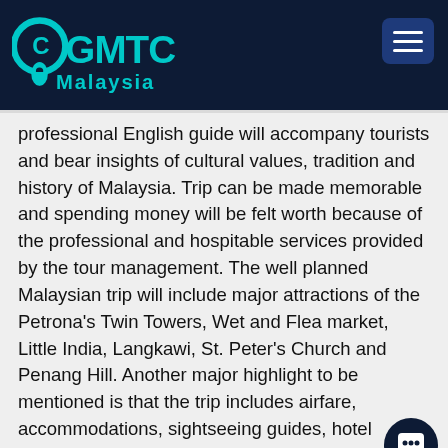CGMTC Malaysia
professional English guide will accompany tourists and bear insights of cultural values, tradition and history of Malaysia. Trip can be made memorable and spending money will be felt worth because of the professional and hospitable services provided by the tour management. The well planned Malaysian trip will include major attractions of the Petrona's Twin Towers, Wet and Flea market, Little India, Langkawi, St. Peter's Church and Penang Hill. Another major highlight to be mentioned is that the trip includes airfare, accommodations, sightseeing guides, hotel transfers and breakfast.
[Figure (photo): Colorful hot air balloons at the bottom of the page]